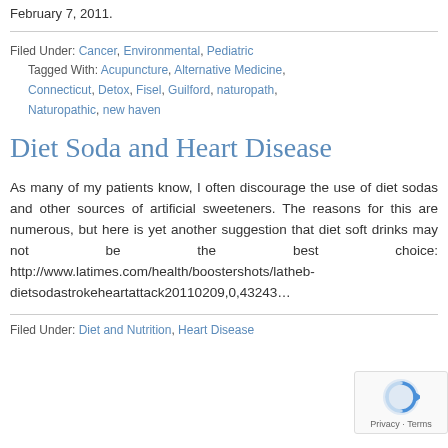February 7, 2011.
Filed Under: Cancer, Environmental, Pediatric
Tagged With: Acupuncture, Alternative Medicine, Connecticut, Detox, Fisel, Guilford, naturopath, Naturopathic, new haven
Diet Soda and Heart Disease
As many of my patients know, I often discourage the use of diet sodas and other sources of artificial sweeteners. The reasons for this are numerous, but here is yet another suggestion that diet soft drinks may not be the best choice: http://www.latimes.com/health/boostershots/latheb-dietsodastrokeheartattack20110209,0,43243…
Filed Under: Diet and Nutrition, Heart Disease